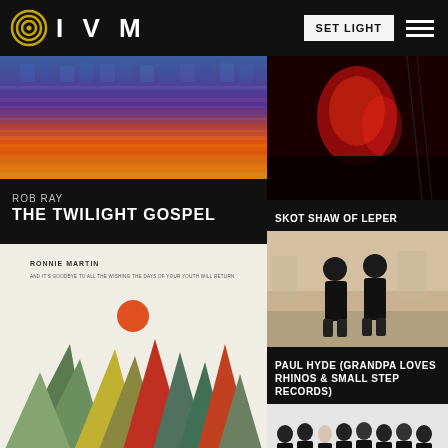IVM — SET LIGHT
[Figure (photo): Rob Ray album art — colorful abstract textured image]
ROB RAY
THE TWILIGHT GOSPEL
[Figure (photo): Ronnie Martin album cover with geometric mountain triangles and orange sun on cream background]
RONNIE MARTIN
FROM THE WOMB OF...
[Figure (photo): Skot Shaw of Leper — dark red-lit concert photo]
SKOT SHAW OF LEPER
[Figure (photo): Paul Hyde — two people standing with backs to camera on a street]
PAUL HYDE (GRANDPA LOVES RHINOS & SMALL STEP RECORDS)
[Figure (photo): Group of people in black shirts standing in a line]